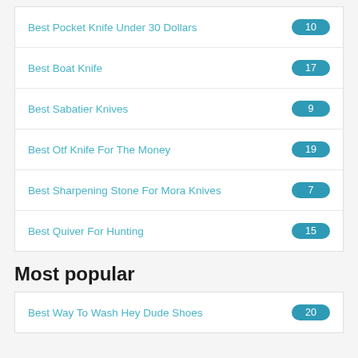Best Pocket Knife Under 30 Dollars
Best Boat Knife
Best Sabatier Knives
Best Otf Knife For The Money
Best Sharpening Stone For Mora Knives
Best Quiver For Hunting
Most popular
Best Way To Wash Hey Dude Shoes